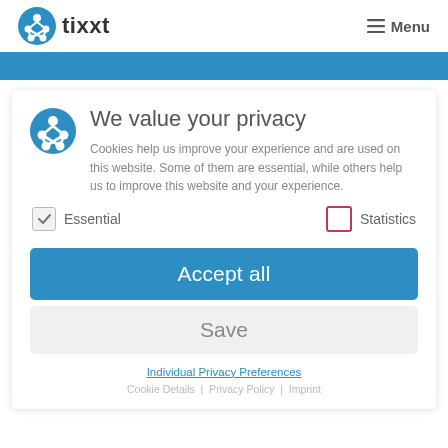tixxt — Menu
We value your privacy
Cookies help us improve your experience and are used on this website. Some of them are essential, while others help us to improve this website and your experience.
Essential   Statistics
Accept all
Save
Individual Privacy Preferences
Cookie Details | Privacy Policy | Imprint